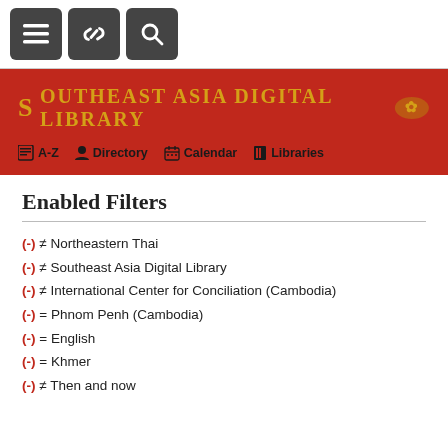[Figure (screenshot): Top navigation bar with three dark square icon buttons: hamburger menu, link/chain icon, and search magnifier icon]
[Figure (screenshot): Red header banner with Southeast Asia Digital Library logo text in gold and navigation links: A-Z, Directory, Calendar, Libraries]
Enabled Filters
(-) ≠ Northeastern Thai
(-) ≠ Southeast Asia Digital Library
(-) ≠ International Center for Conciliation (Cambodia)
(-) = Phnom Penh (Cambodia)
(-) = English
(-) = Khmer
(-) ≠ Then and now